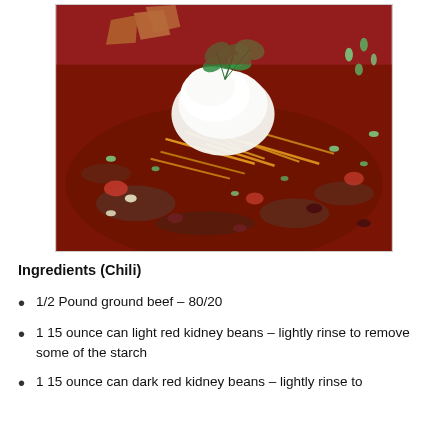[Figure (photo): A bowl of chili topped with shredded cheddar cheese, sour cream, green onions, fresh cilantro, and tortilla chips.]
Ingredients (Chili)
1/2 Pound ground beef – 80/20
1 15 ounce can light red kidney beans – lightly rinse to remove some of the starch
1 15 ounce can dark red kidney beans – lightly rinse to